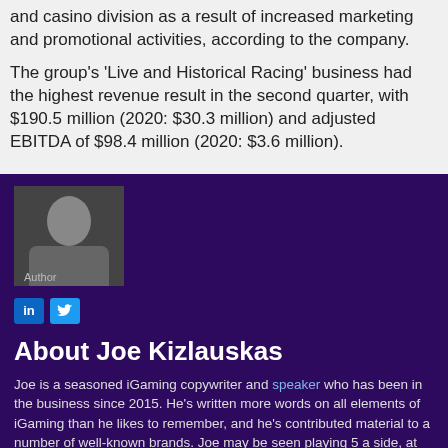and casino division as a result of increased marketing and promotional activities, according to the company.

The group's 'Live and Historical Racing' business had the highest revenue result in the second quarter, with $190.5 million (2020: $30.3 million) and adjusted EBITDA of $98.4 million (2020: $3.6 million).
[Figure (photo): Author photo of Joe Kizlauskas — a man with a child]
About Joe Kizlauskas
Joe is a seasoned iGaming copywriter and speaker who has been in the business since 2015. He's written more words on all elements of iGaming than he likes to remember, and he's contributed material to a number of well-known brands. Joe may be seen playing 5 a side, at the gym or playing games on his Playstation when he is not writing.